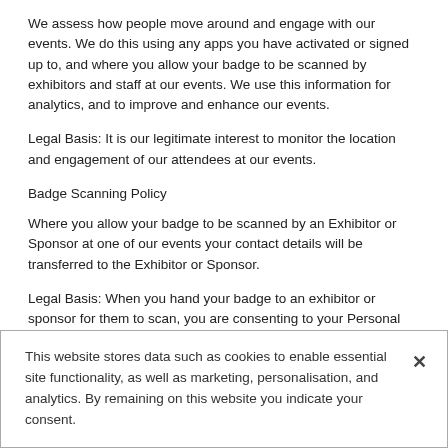We assess how people move around and engage with our events.  We do this using any apps you have activated or signed up to, and where you allow your badge to be scanned by exhibitors and staff at our events.  We use this information for analytics, and to improve and enhance our events.
Legal Basis: It is our legitimate interest to monitor the location and engagement of our attendees at our events.
Badge Scanning Policy
Where you allow your badge to be scanned by an Exhibitor or Sponsor at one of our events your contact details will be transferred to the Exhibitor or Sponsor.
Legal Basis: When you hand your badge to an exhibitor or sponsor for them to scan, you are consenting to your Personal Data being passed to the exhibitor or sponsor.  If you do not wish for your information to be
This website stores data such as cookies to enable essential site functionality, as well as marketing, personalisation, and analytics. By remaining on this website you indicate your consent.